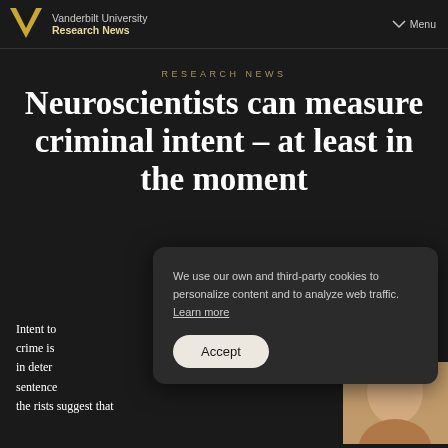Vanderbilt University | Research News | Menu
RESEARCH NEWS
Neuroscientists can measure criminal intent – at least in the moment
We use our own and third-party cookies to personalize content and to analyze web traffic. Learn more
Intent to commit a crime is important in determining sentencing. therists suggest that
[Figure (photo): Partial view of a person's face at the bottom right of the page]